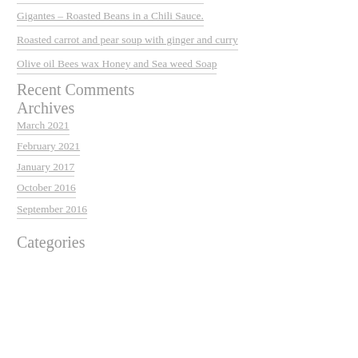Gigantes – Roasted Beans in a Chili Sauce.
Roasted carrot and pear soup with ginger and curry
Olive oil Bees wax Honey and Sea weed Soap
Recent Comments
Archives
March 2021
February 2021
January 2017
October 2016
September 2016
Categories